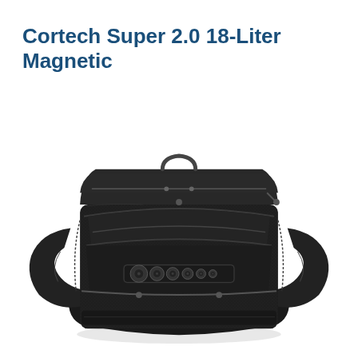Cortech Super 2.0 18-Liter Magnetic
[Figure (photo): Black motorcycle tank bag (Cortech Super 2.0 18-Liter Magnetic) shown from the front. The bag is boxy and black with nylon fabric, multiple zippered compartments, and a distinctive magnetic mounting system visible on the front face consisting of circular magnetic elements on a horizontal bar. The bag has expandable side panels and sits on a light gray/white background with a soft shadow beneath.]